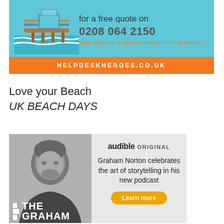[Figure (illustration): Advertisement banner for helpdeskheroes.co.uk showing a pier/beach illustration on the left, text 'for a free quote on 0208 064 2150' and 'WEB DESIGN & DEVELOPMENT + IT SUPPORT' in orange, with an orange bar at the bottom showing 'HELPDESKHEROES.CO.UK']
Love your Beach
UK BEACH DAYS
[Figure (photo): Advertisement for Audible Original podcast 'The Graham Norton' podcast. Shows black and white photo of Graham Norton on the left, text on the right: 'audible ORIGINAL', 'Graham Norton celebrates the art of storytelling in his new podcast', and a 'Learn more' orange button.]